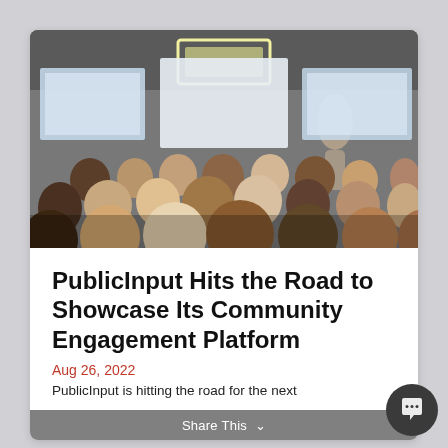[Figure (photo): Audience viewed from behind in a lecture or conference room, facing a presenter and projection screens at the front. Overhead rectangular light fixture visible.]
PublicInput Hits the Road to Showcase Its Community Engagement Platform
Aug 26, 2022
Share This
PublicInput is hitting the road for the next